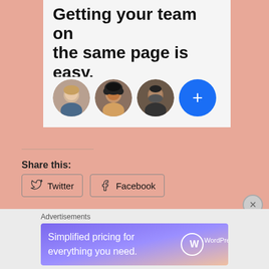Getting your team on the same page is easy. And free.
[Figure (illustration): Four circular profile photos/avatars in a row: three person photos and one blue circle with a plus sign]
Share this:
[Figure (infographic): Two share buttons: Twitter and Facebook]
Loading...
Advertisements
[Figure (screenshot): WordPress.com ad banner: Simplified pricing for everything you need.]